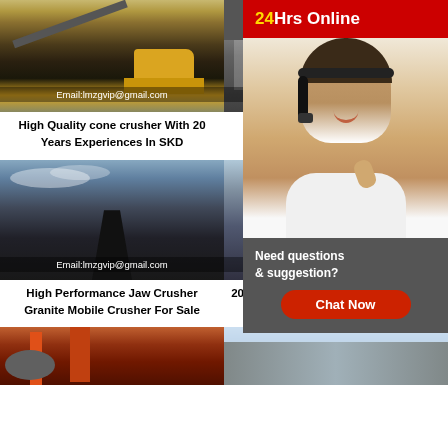[Figure (photo): Mining crusher with bulldozer and conveyor belt, email overlay: Email:lmzgvip@gmail.com]
High Quality cone crusher With 20 Years Experiences In SKD
[Figure (photo): SKD cone crusher industrial machine photo with email overlay, partially obscured by popup]
SKD cone crusher ... lo...
[Figure (photo): Jaw crusher granite mobile crusher for sale, night quarry scene, email overlay: Email:lmzgvip@gmail.com]
High Performance Jaw Crusher Granite Mobile Crusher For Sale
[Figure (photo): 2019 hot selling quarry cone crusher photo, partially obscured by popup]
2019 Hot Sailing High Performance Hp quarry cone crusher
[Figure (photo): Industrial mill machinery in red/orange factory setting]
[Figure (photo): Factory interior with conveyor/crusher equipment]
[Figure (infographic): Popup overlay: 24Hrs Online banner in red/gold, customer service agent photo, Need questions & suggestion? Chat Now button]